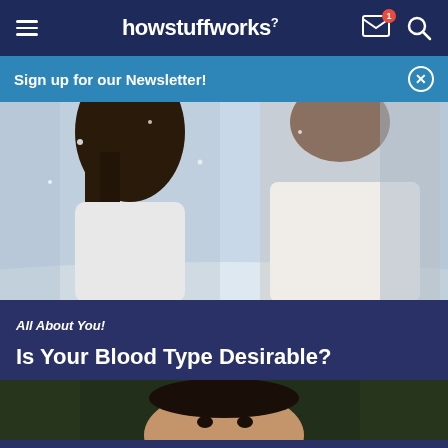howstuffworks
Sign up for our Newsletter!
[Figure (photo): Two people in white clothing in a snowy outdoor setting, viewed from behind]
All About You!
Is Your Blood Type Desirable?
[Figure (photo): Close-up of a man's face outdoors with bokeh background]